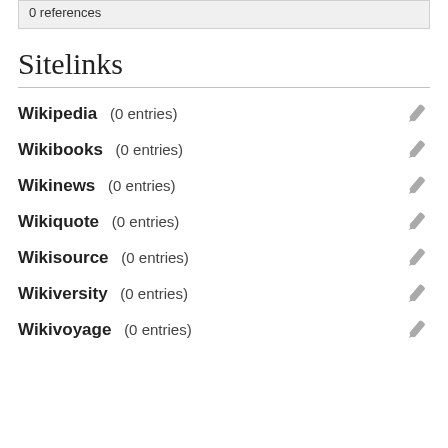0 references
Sitelinks
Wikipedia  (0 entries)
Wikibooks  (0 entries)
Wikinews  (0 entries)
Wikiquote  (0 entries)
Wikisource  (0 entries)
Wikiversity  (0 entries)
Wikivoyage  (0 entries)